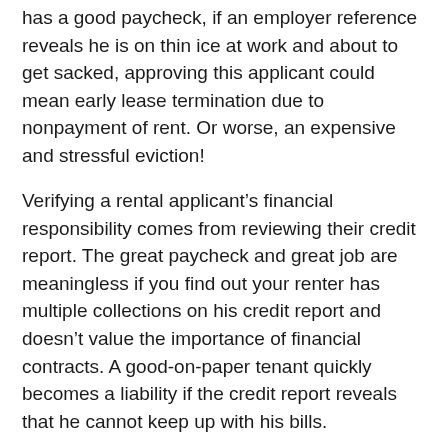has a good paycheck, if an employer reference reveals he is on thin ice at work and about to get sacked, approving this applicant could mean early lease termination due to nonpayment of rent. Or worse, an expensive and stressful eviction!
Verifying a rental applicant’s financial responsibility comes from reviewing their credit report. The great paycheck and great job are meaningless if you find out your renter has multiple collections on his credit report and doesn’t value the importance of financial contracts. A good-on-paper tenant quickly becomes a liability if the credit report reveals that he cannot keep up with his bills.
Finally, consider the applicant’s rental history. Every rental application should ask for previous addresses, length at residence and reason for leaving. Tenant